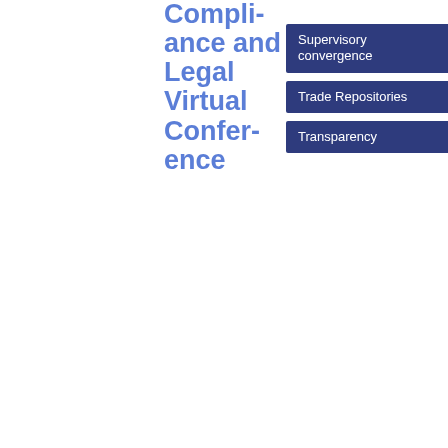Compliance and Legal Virtual Conference
Supervisory convergence
Trade Repositories
Transparency
24/03/2021
ESMA 91-372-1395
Keynote Speech_Derivatives Forum 23 March 2021
CCP Directorate
Speech
PDF
16
0.05 KB